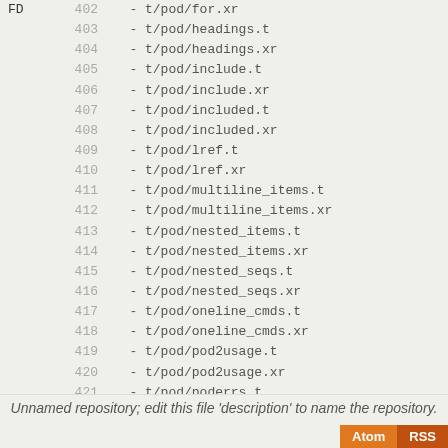FD  402  - t/pod/for.xr
    403  - t/pod/headings.t
    404  - t/pod/headings.xr
    405  - t/pod/include.t
    406  - t/pod/include.xr
    407  - t/pod/included.t
    408  - t/pod/included.xr
    409  - t/pod/lref.t
    410  - t/pod/lref.xr
    411  - t/pod/multiline_items.t
    412  - t/pod/multiline_items.xr
    413  - t/pod/nested_items.t
    414  - t/pod/nested_items.xr
    415  - t/pod/nested_seqs.t
    416  - t/pod/nested_seqs.xr
    417  - t/pod/oneline_cmds.t
    418  - t/pod/oneline_cmds.xr
    419  - t/pod/pod2usage.t
    420  - t/pod/pod2usage.xr
    421  - t/pod/poderrs.t
    422  - t/pod/poderrs.xr
    423  - t/pod/podselect.t
    424  - t/pod/podselect.xr
    425  - t/pod/special_seqs.t
    426  - t/pod/special_seqs.xr
    427  - t/pod/testcmp.pl
    428  - t/pod/testp2pt.pl
    429  - t/pod/testpchk.pl
0cf51544  430
Unnamed repository; edit this file 'description' to name the repository.